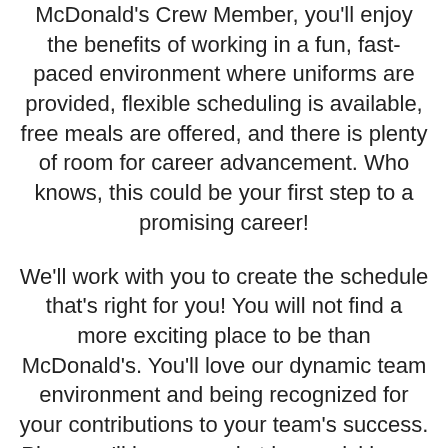McDonald's Crew Member, you'll enjoy the benefits of working in a fun, fast-paced environment where uniforms are provided, flexible scheduling is available, free meals are offered, and there is plenty of room for career advancement. Who knows, this could be your first step to a promising career!
We'll work with you to create the schedule that's right for you! You will not find a more exciting place to be than McDonald's. You'll love our dynamic team environment and being recognized for your contributions to your team's success. Plus, you'll be amazed at how quickly you will grow.
There's so much to learn and do! Our McDonald's restaurants are dedicated to one goal, providing our customers with a quality